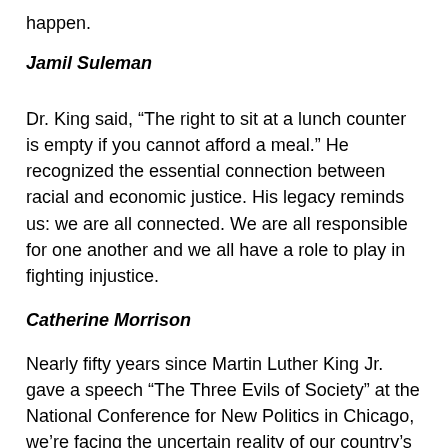happen.
Jamil Suleman
Dr. King said, “The right to sit at a lunch counter is empty if you cannot afford a meal.” He recognized the essential connection between racial and economic justice. His legacy reminds us: we are all connected. We are all responsible for one another and we all have a role to play in fighting injustice.
Catherine Morrison
Nearly fifty years since Martin Luther King Jr. gave a speech “The Three Evils of Society” at the National Conference for New Politics in Chicago, we’re facing the uncertain reality of our country’s new government and a continuance of racist and xenophobic attitudes towards others.